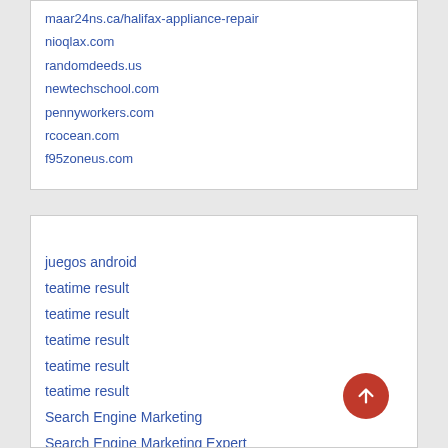maar24ns.ca/halifax-appliance-repair
nioqlax.com
randomdeeds.us
newtechschool.com
pennyworkers.com
rcocean.com
f95zoneus.com
juegos android
teatime result
teatime result
teatime result
teatime result
teatime result
Search Engine Marketing
Search Engine Marketing Expert
SEM